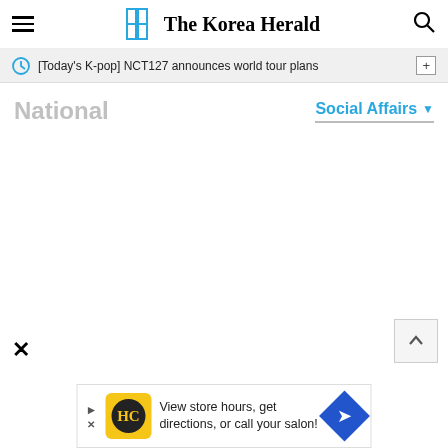The Korea Herald
[Today's K-pop] NCT127 announces world tour plans
National
Social Affairs
View store hours, get directions, or call your salon!